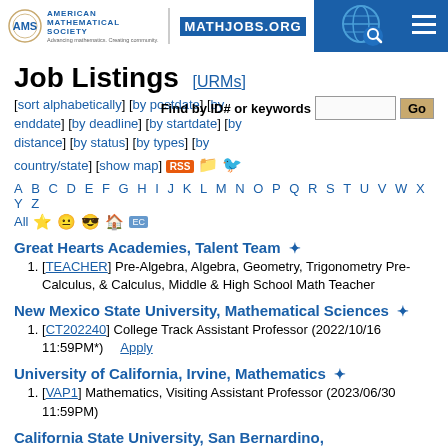AMS MATHJOBS.ORG
Job Listings [URMs]
[sort alphabetically] [by postdate] [by enddate] [by deadline] [by startdate] [by distance] [by status] [by types] [by country/state] [show map] [RSS]
Find by ID# or keywords  Go
A B C D E F G H I J K L M N O P Q R S T U V W X Y Z All
Great Hearts Academies, Talent Team *
[TEACHER] Pre-Algebra, Algebra, Geometry, Trigonometry Pre-Calculus, & Calculus, Middle & High School Math Teacher
New Mexico State University, Mathematical Sciences *
[CT202240] College Track Assistant Professor (2022/10/16 11:59PM*)  Apply
University of California, Irvine, Mathematics *
[VAP1] Mathematics, Visiting Assistant Professor (2023/06/30 11:59PM)
California State University, San Bernardino, Mathematics/Natural